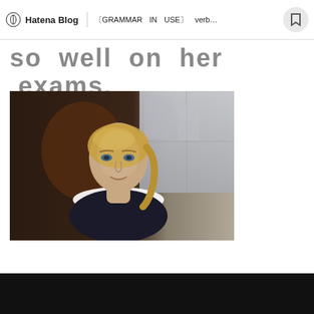Hatena Blog | 〔GRAMMAR IN USE〕 verb…
so well on her exams.
[Figure (photo): A young blonde woman sitting in a dark top with white collar trim, in an office setting with large windows showing a cityscape in the background.]